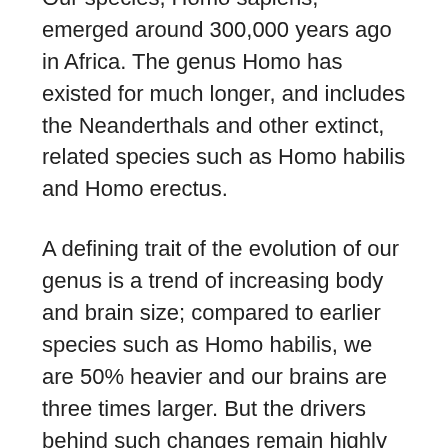Our species, Homo sapiens, emerged around 300,000 years ago in Africa. The genus Homo has existed for much longer, and includes the Neanderthals and other extinct, related species such as Homo habilis and Homo erectus.
A defining trait of the evolution of our genus is a trend of increasing body and brain size; compared to earlier species such as Homo habilis, we are 50% heavier and our brains are three times larger. But the drivers behind such changes remain highly debated.
He added: “We can see from people living today that those in warmer climates tend to be smaller, and those living in colder climates tend to be